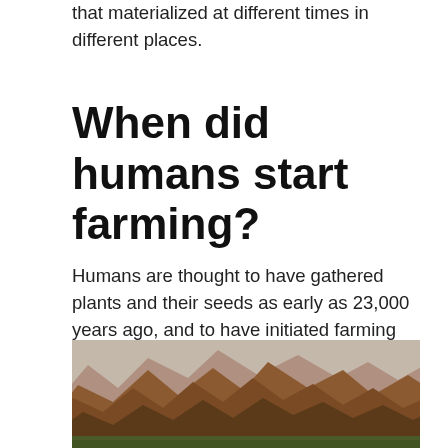that materialized at different times in different places.
When did humans start farming?
Humans are thought to have gathered plants and their seeds as early as 23,000 years ago, and to have initiated farming cereal grains like barley as early as 11,000 years ago . Afterward, they shifted on to protein-rich foods like peas and lentils.
[Figure (photo): Landscape photograph showing rugged brown desert mountains with a flat valley floor in the foreground, horizon visible at bottom of frame.]